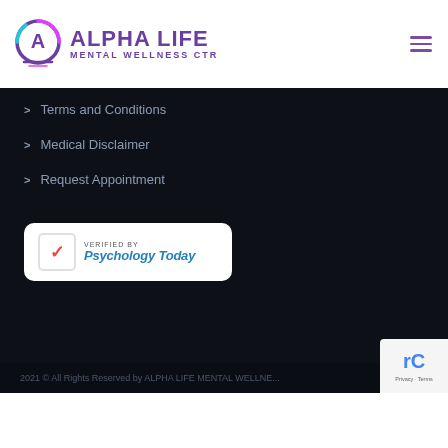[Figure (logo): Alpha Life Mental Wellness CTR logo with circular icon and purple text]
Terms and Conditions
Medical Disclaimer
Request Appointment
[Figure (logo): Verified by Psychology Today badge with red checkmark]
2021 © All Rights Reserved by ALPHA LIFE MENTAL WELLNE...